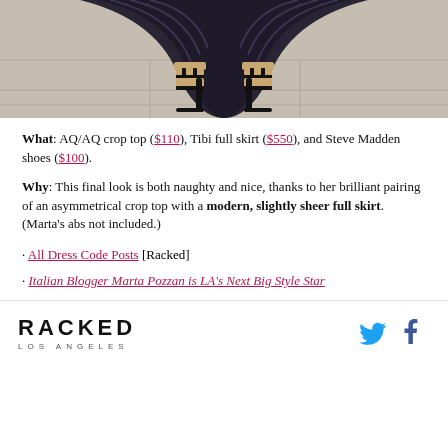[Figure (photo): Bottom portion of a person wearing a black striped full skirt and black strappy heeled sandals, standing on tile floor]
What: AQ/AQ crop top ($110), Tibi full skirt ($550), and Steve Madden shoes ($100).
Why: This final look is both naughty and nice, thanks to her brilliant pairing of an asymmetrical crop top with a modern, slightly sheer full skirt. (Marta's abs not included.)
· All Dress Code Posts [Racked]
· Italian Blogger Marta Pozzan is LA's Next Big Style Star
RACKED LOS ANGELES